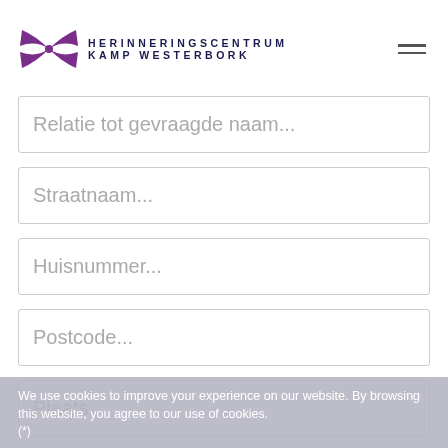HERINNERINGSCENTRUM KAMP WESTERBORK
Relatie tot gevraagde naam...
Straatnaam...
Huisnummer...
Postcode...
Plaats...
We use cookies to improve your experience on our website. By browsing this website, you agree to our use of cookies.
(*)